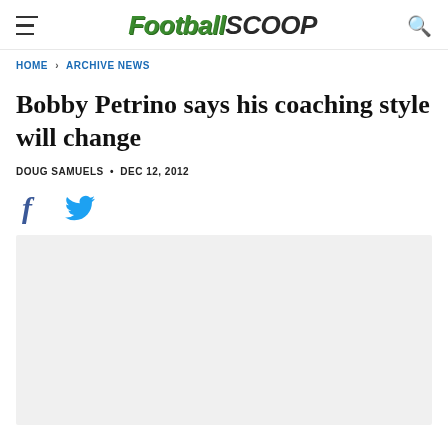FootballScoop
HOME > ARCHIVE NEWS
Bobby Petrino says his coaching style will change
DOUG SAMUELS • DEC 12, 2012
[Figure (illustration): Social share icons: Facebook (f) and Twitter bird icon]
[Figure (photo): Gray placeholder image block below social icons]